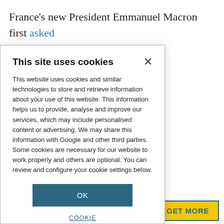France's new President Emmanuel Macron first asked ... rance in ... er taking office, he ... king on climate ... ily called Make ... ion grant funded ... ncy. Experienced ... d are offered a ... r grant to relocate ... rance. The ... he administrative ... nd ensure spouses ... archers with at ... e enticed with a
[Figure (screenshot): Cookie consent modal dialog with title 'This site uses cookies', body text about cookies policy, OK button, and COOKIE SETTINGS link]
GET MORE